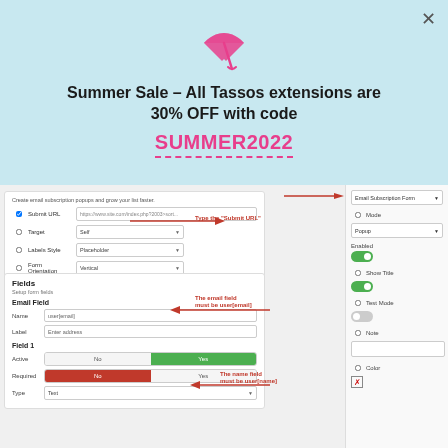[Figure (screenshot): Summer sale promotional modal with beach umbrella icon showing 30% OFF code SUMMER2022, overlaid on a web UI screenshot showing Email Subscription Form settings panel with form fields, toggles, and callout annotations]
Summer Sale – All Tassos extensions are 30% OFF with code
SUMMER2022